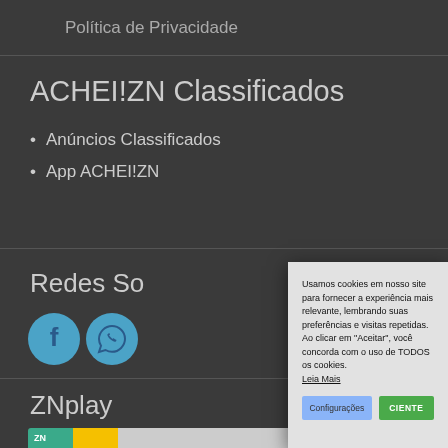Política de Privacidade
ACHEI!ZN Classificados
Anúncios Classificados
App ACHEI!ZN
Redes Sociais
[Figure (other): Social media icons: Facebook and WhatsApp circular blue icons]
ZNplay
[Figure (screenshot): ZNplay app icon/banner partially visible at bottom]
Usamos cookies em nosso site para fornecer a experiência mais relevante, lembrando suas preferências e visitas repetidas. Ao clicar em "Aceitar", você concorda com o uso de TODOS os cookies. Leia Mais
Configurações
CIENTE